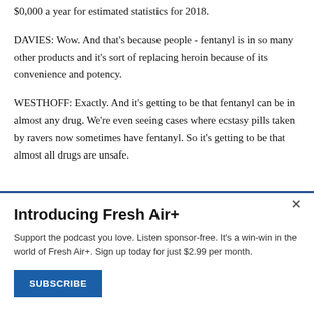$0,000 a year for estimated statistics for 2018.
DAVIES: Wow. And that's because people - fentanyl is in so many other products and it's sort of replacing heroin because of its convenience and potency.
WESTHOFF: Exactly. And it's getting to be that fentanyl can be in almost any drug. We're even seeing cases where ecstasy pills taken by ravers now sometimes have fentanyl. So it's getting to be that almost all drugs are unsafe.
Introducing Fresh Air+
Support the podcast you love. Listen sponsor-free. It's a win-win in the world of Fresh Air+. Sign up today for just $2.99 per month.
SUBSCRIBE